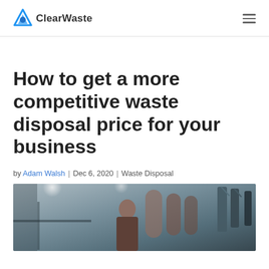ClearWaste
How to get a more competitive waste disposal price for your business
by Adam Walsh | Dec 6, 2020 | Waste Disposal
[Figure (photo): A man working in what appears to be an industrial or workshop setting, with large cylindrical containers and equipment visible in the background.]